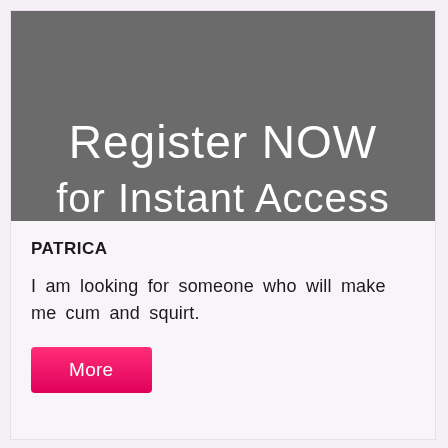[Figure (screenshot): Dark grey banner with white text reading 'Register NOW' and partially visible text 'for Instant Access' at bottom]
PATRICA
I am looking for someone who will make me cum and squirt.
More